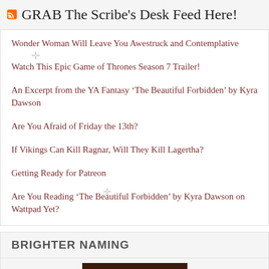GRAB The Scribe's Desk Feed Here!
Wonder Woman Will Leave You Awestruck and Contemplative
Watch This Epic Game of Thrones Season 7 Trailer!
An Excerpt from the YA Fantasy ‘The Beautiful Forbidden’ by Kyra Dawson
Are You Afraid of Friday the 13th?
If Vikings Can Kill Ragnar, Will They Kill Lagertha?
Getting Ready for Patreon
Are You Reading ‘The Beautiful Forbidden’ by Kyra Dawson on Wattpad Yet?
BRIGHTER NAMING
[Figure (logo): Brighter Naming logo: dark brown/maroon background with gold text reading BRIGHTER NAMING]